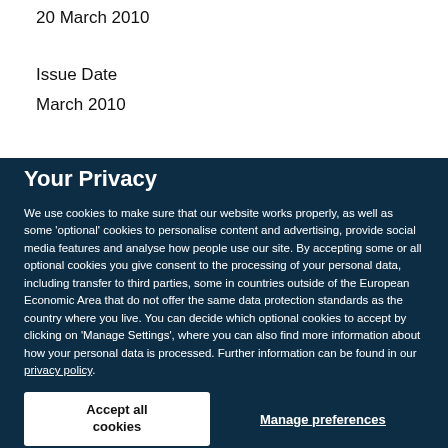20 March 2010
Issue Date
March 2010
Your Privacy
We use cookies to make sure that our website works properly, as well as some ‘optional’ cookies to personalise content and advertising, provide social media features and analyse how people use our site. By accepting some or all optional cookies you give consent to the processing of your personal data, including transfer to third parties, some in countries outside of the European Economic Area that do not offer the same data protection standards as the country where you live. You can decide which optional cookies to accept by clicking on ‘Manage Settings’, where you can also find more information about how your personal data is processed. Further information can be found in our privacy policy.
Accept all cookies
Manage preferences